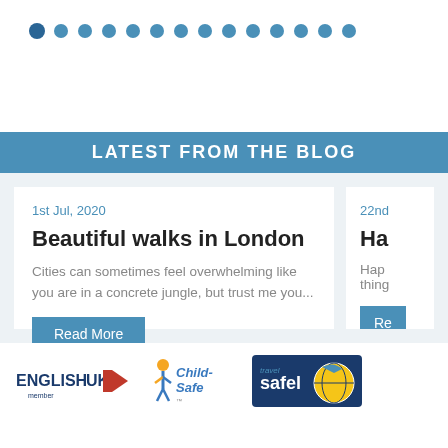[Figure (other): Row of blue dots representing a carousel/slider indicator with one darker filled dot on the left]
LATEST FROM THE BLOG
1st Jul, 2020
Beautiful walks in London
Cities can sometimes feel overwhelming like you are in a concrete jungle, but trust me you...
Read More
22nd
Ha
Hap thing
Re
[Figure (logo): ENGLISH UK member logo with red chevron arrow]
[Figure (logo): Child-Safe logo with yellow and blue figure icon]
[Figure (logo): Travel Safe logo with globe and bird/plane icon on dark blue background]